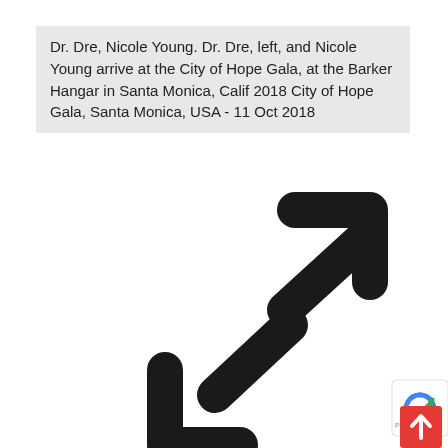Dr. Dre, Nicole Young. Dr. Dre, left, and Nicole Young arrive at the City of Hope Gala, at the Barker Hangar in Santa Monica, Calif 2018 City of Hope Gala, Santa Monica, USA - 11 Oct 2018
[Figure (other): Two large arrows indicating expand/fullscreen functionality: one pointing upper-right (northeast) and one pointing lower-left (southwest), rendered as bold black arrows on white background. A small reCAPTCHA badge and a red scroll-to-top button appear at the bottom-right corner.]